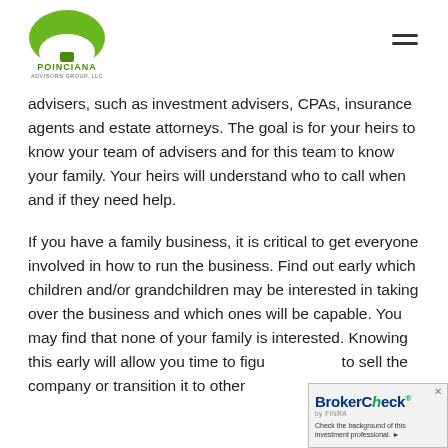Poinciana Advisors Group, LLC
advisers, such as investment advisers, CPAs, insurance agents and estate attorneys. The goal is for your heirs to know your team of advisers and for this team to know your family. Your heirs will understand who to call when and if they need help.
If you have a family business, it is critical to get everyone involved in how to run the business. Find out early which children and/or grandchildren may be interested in taking over the business and which ones will be capable. You may find that none of your family is interested. Knowing this early will allow you time to figure out how to sell the company or transition it to other
[Figure (logo): BrokerCheck by FINRA badge with text: Check the background of this investment professional.]